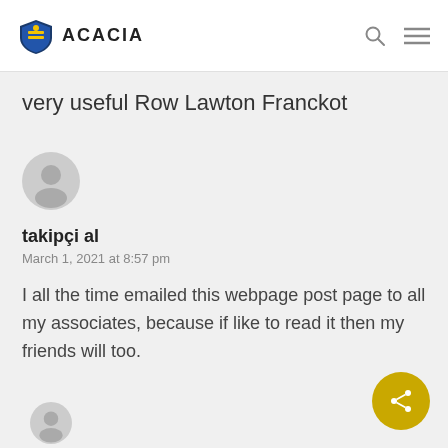ACACIA
very useful Row Lawton Franckot
takipçi al
March 1, 2021 at 8:57 pm
I all the time emailed this webpage post page to all my associates, because if like to read it then my friends will too.